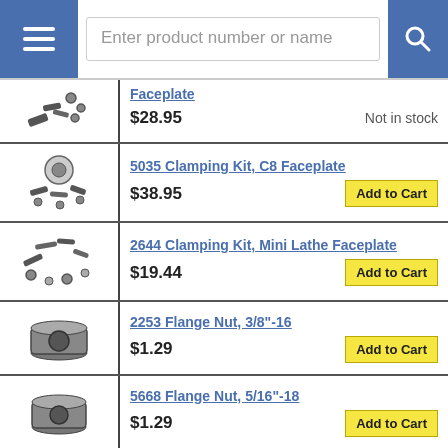Enter product number or name
Faceplate
$28.95   Not in stock
5035 Clamping Kit, C8 Faceplate
$38.95   Add to Cart
2644 Clamping Kit, Mini Lathe Faceplate
$19.44   Add to Cart
2253 Flange Nut, 3/8"-16
$1.29   Add to Cart
5668 Flange Nut, 5/16"-18
$1.29   Add to Cart
4978 Flange Nut, M6
$1.29   Add to Cart